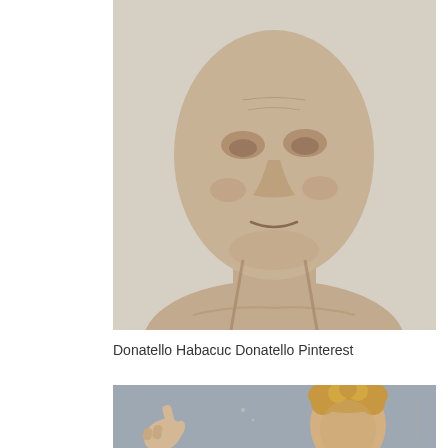[Figure (photo): Close-up photograph of a stone sculpture bust showing a bald human face with hollow eyes, slight smile, and muscular neck — Donatello's Habacuc sculpture]
Donatello Habacuc Donatello Pinterest
[Figure (photo): Partial photograph of another sculpture showing a hand pointing and a head with curly hair, on a gray background]